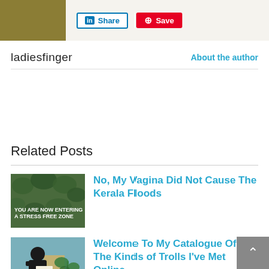[Figure (screenshot): Top bar with olive/khaki block on left and social share buttons (LinkedIn Share and Pinterest Save) on right, on a light beige background.]
ladiesfinger
About the author
Related Posts
[Figure (photo): Thumbnail image with green foliage background and text 'YOU ARE NOW ENTERING A STRESS FREE ZONE']
No, My Vagina Did Not Cause The Kerala Floods
[Figure (photo): Thumbnail image with illustrated woman reading, blue/teal color scheme]
Welcome To My Catalogue Of All The Kinds of Trolls I've Met Online